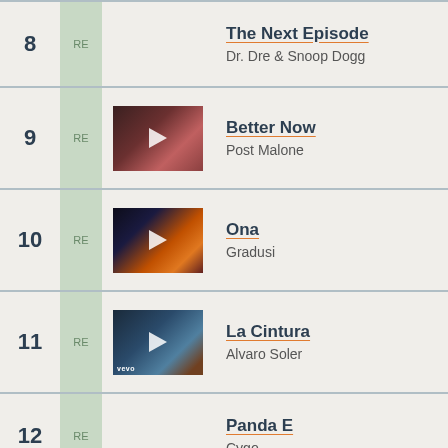8 RE — The Next Episode — Dr. Dre & Snoop Dogg
9 RE — Better Now — Post Malone
10 RE — Ona — Gradusi
11 RE — La Cintura — Alvaro Soler
12 RE — Panda E — Cygo
13 RE — (partial)